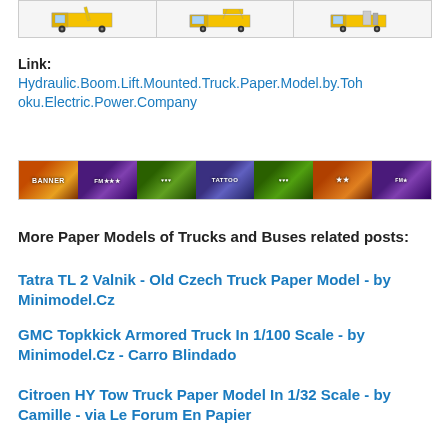[Figure (illustration): Three small truck model images in a bordered box at the top of the page]
Link:
Hydraulic.Boom.Lift.Mounted.Truck.Paper.Model.by.Tohoku.Electric.Power.Company
[Figure (illustration): A horizontal strip of 7 colorful banner images]
More Paper Models of Trucks and Buses related posts:
Tatra TL 2 Valnik - Old Czech Truck Paper Model - by Minimodel.Cz
GMC Topkkick Armored Truck In 1/100 Scale - by Minimodel.Cz - Carro Blindado
Citroen HY Tow Truck Paper Model In 1/32 Scale - by Camille - via Le Forum En Papier